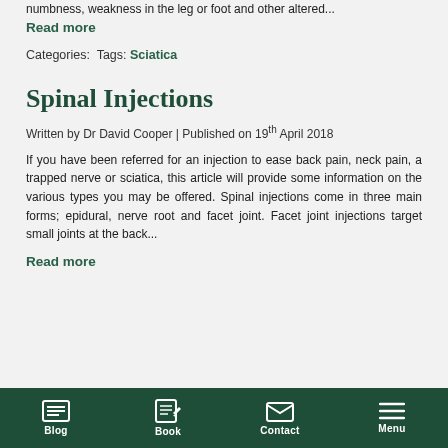numbness, weakness in the leg or foot and other altered...
Read more
Categories:  Tags: Sciatica
Spinal Injections
Written by Dr David Cooper | Published on 19th April 2018
If you have been referred for an injection to ease back pain, neck pain, a trapped nerve or sciatica, this article will provide some information on the various types you may be offered. Spinal injections come in three main forms; epidural, nerve root and facet joint. Facet joint injections target small joints at the back...
Read more
Blog | Book | Contact | Menu